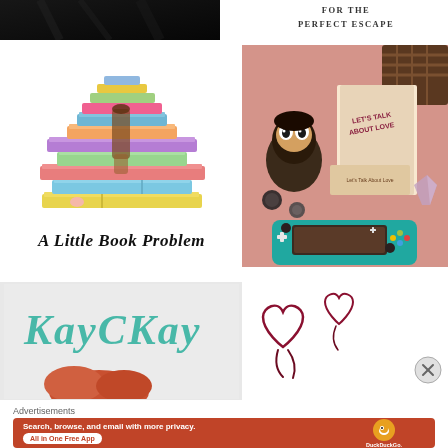[Figure (photo): Dark/black image in top-left corner, appears to be part of a book cover with dark tones]
FOR THE
PERFECT ESCAPE
[Figure (logo): A Little Book Problem logo - stack of colorful books illustration with script text below reading 'A Little Book Problem']
[Figure (photo): Photo on pink fluffy background showing a Funko Pop figure, books titled 'Let's Talk About Love', coins/buttons, a teal Nintendo Switch Lite, and a crystal]
[Figure (logo): KayCKay logo in teal script handwriting on light gray background, with partial illustration of a character below]
[Figure (illustration): Two small hand-drawn heart outlines in dark red/maroon color on white background]
Advertisements
[Figure (screenshot): DuckDuckGo advertisement banner with orange/rust background showing text 'Search, browse, and email with more privacy. All in One Free App' with a phone image and DuckDuckGo logo]